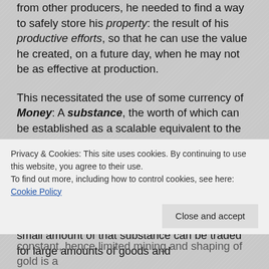from other producers, he needed to find a way to safely store his property: the result of his productive efforts, so that he can use the value he created, on a future day, when he may not be as effective at production.
This necessitated the use of some currency of Money: A substance, the worth of which can be established as a scalable equivalent to the worth of the products offered by the producers. A substance that doesn't perish like vegetables or meat, a substance that is universally valued by all other producers similar to him, and a substance that must be available in a limited quantity, and hard to procure, so that even a small amount of that substance can be traded for large amounts of goods and
constant, hence limited mining and shaping of gold is a
Privacy & Cookies: This site uses cookies. By continuing to use this website, you agree to their use. To find out more, including how to control cookies, see here: Cookie Policy